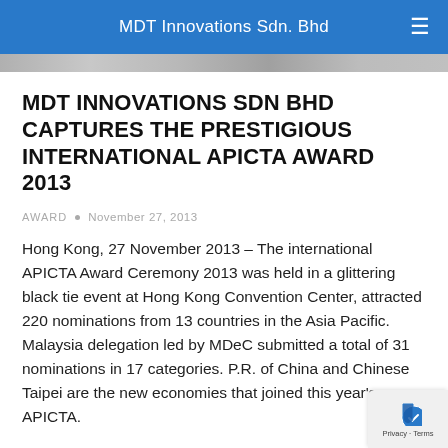MDT Innovations Sdn. Bhd
MDT INNOVATIONS SDN BHD CAPTURES THE PRESTIGIOUS INTERNATIONAL APICTA AWARD 2013
AWARD • November 27, 2013
Hong Kong, 27 November 2013 – The international APICTA Award Ceremony 2013 was held in a glittering black tie event at Hong Kong Convention Center, attracted 220 nominations from 13 countries in the Asia Pacific. Malaysia delegation led by MDeC submitted a total of 31 nominations in 17 categories. P.R. of China and Chinese Taipei are the new economies that joined this year's APICTA.
← 1 2 3 4 →